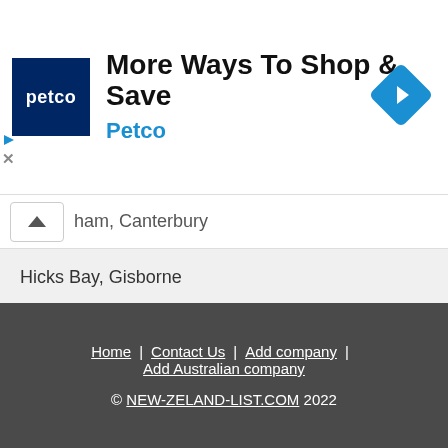[Figure (other): Petco advertisement banner with logo, text 'More Ways To Shop & Save', subtitle 'Petco', and a blue diamond navigation arrow icon]
ham, Canterbury
Hicks Bay, Gisborne
Ruatoria, Gisborne
Rd 9, Hawke's Bay
Fairhall, Marlborough
Becks, Otago
Home | Contact Us | Add company | Add Australian company © NEW-ZELAND-LIST.COM 2022